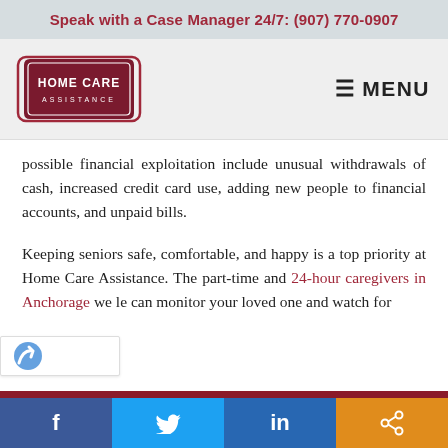Speak with a Case Manager 24/7: (907) 770-0907
[Figure (logo): Home Care Assistance logo — dark red shield/arch shape with white text 'HOME CARE ASSISTANCE']
possible financial exploitation include unusual withdrawals of cash, increased credit card use, adding new people to financial accounts, and unpaid bills.
Keeping seniors safe, comfortable, and happy is a top priority at Home Care Assistance. The part-time and 24-hour caregivers in Anchorage we le can monitor your loved one and watch for
f  [Twitter bird]  in  [share icon]